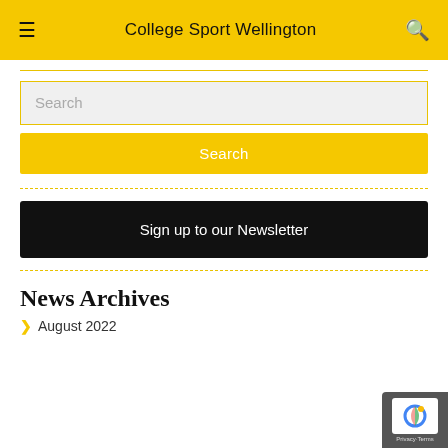College Sport Wellington
Search
Search
Sign up to our Newsletter
News Archives
August 2022